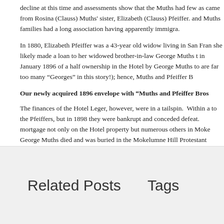decline at this time and assessments show that the Muths had few as came from Rosina (Clauss) Muths' sister, Elizabeth (Clauss) Pfeiffer. and Muths families had a long association having apparently immigra.
In 1880, Elizabeth Pfeiffer was a 43-year old widow living in San Fran she likely made a loan to her widowed brother-in-law George Muths t in January 1896 of a half ownership in the Hotel by George Muths to are far too many “Georges” in this story!); hence, Muths and Pfeiffer B
Our newly acquired 1896 envelope with “Muths and Pfeiffer Bros
The finances of the Hotel Leger, however, were in a tailspin. Within a to the Pfeiffers, but in 1898 they were bankrupt and conceded defeat. mortgage not only on the Hotel property but numerous others in Moke George Muths died and was buried in the Mokelumne Hill Protestant
Thanks to Rurik Kallis for facilitating acquisition of the envelope and t Pheiffers.
Related Posts
Tags